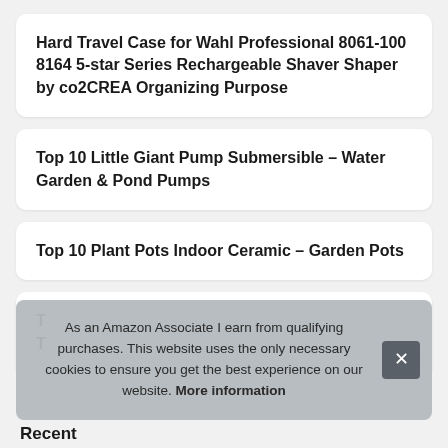Hard Travel Case for Wahl Professional 8061-100 8164 5-star Series Rechargeable Shaver Shaper by co2CREA Organizing Purpose
Top 10 Little Giant Pump Submersible – Water Garden & Pond Pumps
Top 10 Plant Pots Indoor Ceramic – Garden Pots
T
T
As an Amazon Associate I earn from qualifying purchases. This website uses the only necessary cookies to ensure you get the best experience on our website. More information
Recent